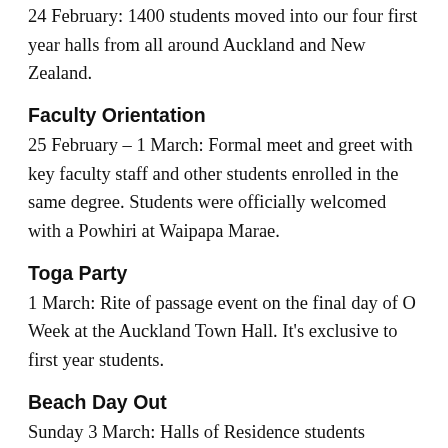24 February: 1400 students moved into our four first year halls from all around Auckland and New Zealand.
Faculty Orientation
25 February – 1 March: Formal meet and greet with key faculty staff and other students enrolled in the same degree. Students were officially welcomed with a Powhiri at Waipapa Marae.
Toga Party
1 March: Rite of passage event on the final day of O Week at the Auckland Town Hall. It's exclusive to first year students.
Beach Day Out
Sunday 3 March: Halls of Residence students concluded their week of welcome activities by taking a trip to Wenderholm Regional Park to relax at the beach and enjoy